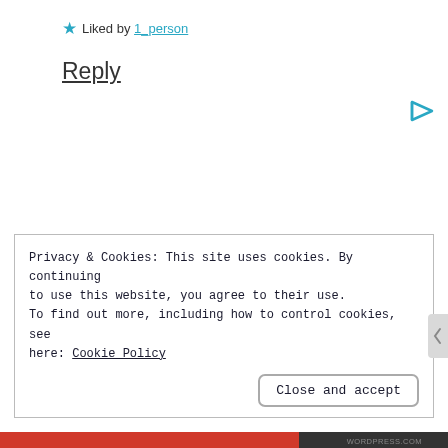★ Liked by 1_person
Reply
[Figure (illustration): Teal/cyan right-pointing arrow or play icon]
Privacy & Cookies: This site uses cookies. By continuing to use this website, you agree to their use. To find out more, including how to control cookies, see here: Cookie Policy
Close and accept